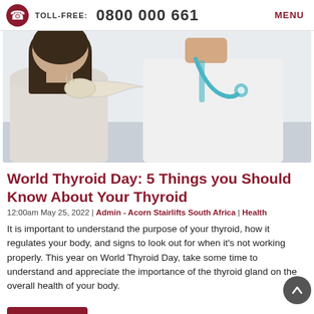TOLL-FREE: 0800 000 661  MENU
[Figure (photo): Doctor in white coat examining a patient's neck/thyroid area with gloved hands; patient has dark hair and is seen from behind.]
World Thyroid Day: 5 Things you Should Know About Your Thyroid
12:00am May 25, 2022 | Admin - Acorn Stairlifts South Africa | Health
It is important to understand the purpose of your thyroid, how it regulates your body, and signs to look out for when it's not working properly. This year on World Thyroid Day, take some time to understand and appreciate the importance of the thyroid gland on the overall health of your body.